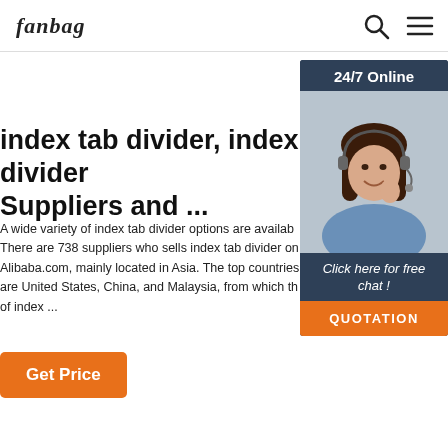fanbag (logo) [search icon] [menu icon]
index tab divider, index tab divider Suppliers and ...
A wide variety of index tab divider options are availab There are 738 suppliers who sells index tab divider on Alibaba.com, mainly located in Asia. The top countries are United States, China, and Malaysia, from which the of index ...
[Figure (photo): Customer service representative woman with headset - 24/7 Online chat widget with dark blue background and orange QUOTATION button]
Get Price